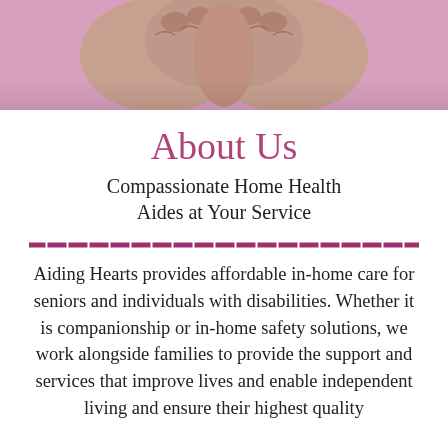[Figure (photo): Close-up photo of two pairs of hands pressed together against a pink/mauve background, viewed from above showing the knuckles and fingers interlaced.]
About Us
Compassionate Home Health Aides at Your Service
Aiding Hearts provides affordable in-home care for seniors and individuals with disabilities. Whether it is companionship or in-home safety solutions, we work alongside families to provide the support and services that improve lives and enable independent living and ensure their highest quality...